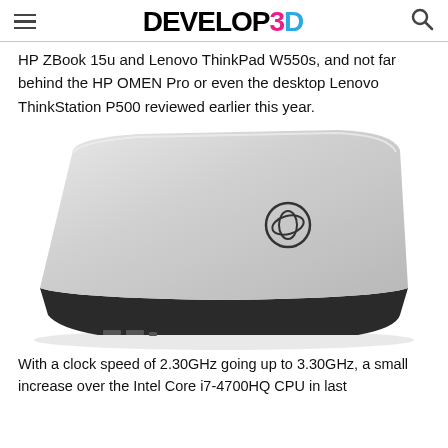DEVELOP3D
HP ZBook 15u and Lenovo ThinkPad W550s, and not far behind the HP OMEN Pro or even the desktop Lenovo ThinkStation P500 reviewed earlier this year.
[Figure (photo): A silver Dell laptop photographed from the back-left angle, showing the lid with a Dell logo, slightly open, with ports visible on the left side.]
With a clock speed of 2.30GHz going up to 3.30GHz, a small increase over the Intel Core i7-4700HQ CPU in last...